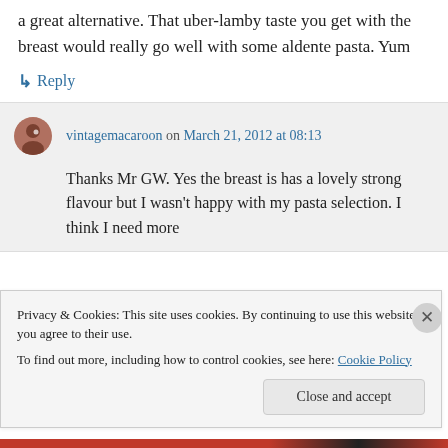a great alternative. That uber-lamby taste you get with the breast would really go well with some aldente pasta. Yum
↳ Reply
vintagemacaroon on March 21, 2012 at 08:13
Thanks Mr GW. Yes the breast is has a lovely strong flavour but I wasn't happy with my pasta selection. I think I need more
Privacy & Cookies: This site uses cookies. By continuing to use this website, you agree to their use.
To find out more, including how to control cookies, see here: Cookie Policy
Close and accept